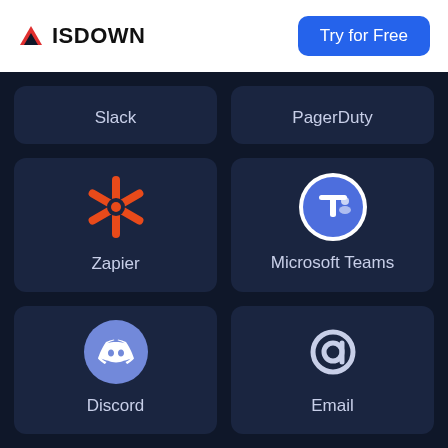ISDOWN | Try for Free
[Figure (screenshot): ISDOWN website showing integration cards: Slack, PagerDuty, Zapier, Microsoft Teams, Discord, Email]
Slack
PagerDuty
Zapier
Microsoft Teams
Discord
Email